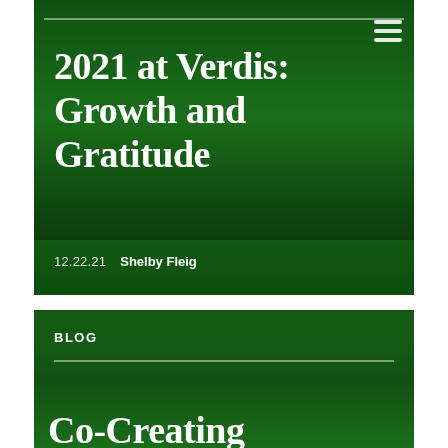[Figure (photo): Green-tinted photo of a group of people standing outdoors on a street, overlaid with dark green color wash. Contains blog post header for '2021 at Verdis: Growth and Gratitude'.]
2021 at Verdis: Growth and Gratitude
12.22.21   Shelby Fleig
[Figure (photo): Green-tinted photo of a landscape with trees and water, overlaid with dark green color wash. Shows 'BLOG' label and partial title 'Co-Creating'.]
BLOG
Co-Creating